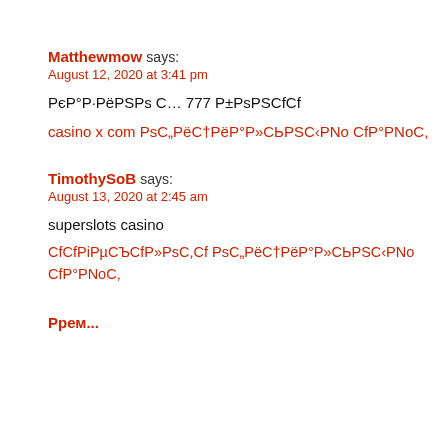Matthewmow says:
August 12, 2020 at 3:41 pm
PєP°P·PёPSPs С… 777 P±PsPSCfCf
casino x com PsC„PëC†PëP°P»CЬPSC‹PNo CfP°PNoC,
TimothySoB says:
August 13, 2020 at 2:45 am
superslots casino
CfCfPiPµCЪCfP»PsC,Cf PsC„PëC†PëP°P»CЬPSC‹PNo CfP°PNoC,
РѕРґРё...